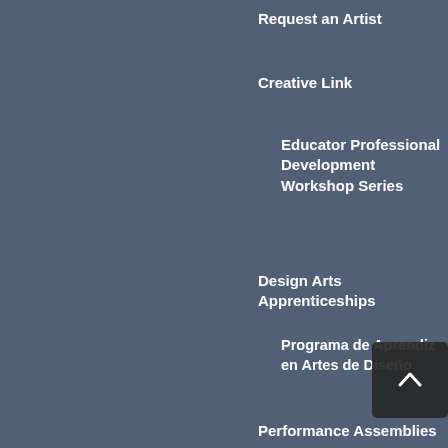Request an Artist
Creative Link
Educator Professional Development Workshop Series
Design Arts Apprenticeships
Programa de Aprendiz en Artes de Diseño
Performance Assemblies
For Arts Professionals
Arts & Culture Roundtables
Artist Resources
Calls to Artists